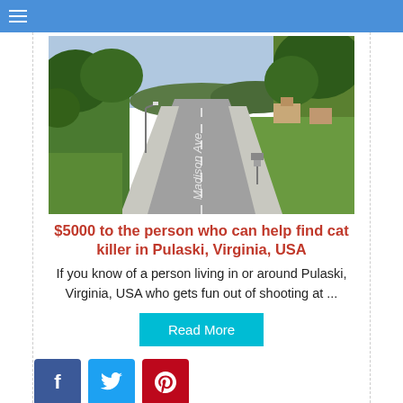☰
[Figure (photo): Street view photo of Madison Ave in Pulaski, Virginia — a residential road lined with green trees and lawns on both sides, with the street name 'Madison Ave' painted on the pavement.]
$5000 to the person who can help find cat killer in Pulaski, Virginia, USA
If you know of a person living in or around Pulaski, Virginia, USA who gets fun out of shooting at ...
Read More
[Figure (other): Social sharing icons: Facebook (blue), Twitter (light blue), Pinterest (red)]